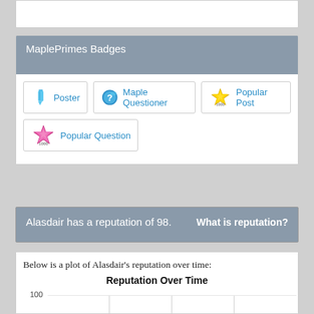MaplePrimes Badges
[Figure (infographic): Four badge items: Poster (pen icon), Maple Questioner (question mark globe icon), Popular Post (gold star with 1000), Popular Question (pink star with 1000)]
Alasdair has a reputation of 98.    What is reputation?
Below is a plot of Alasdair's reputation over time:
[Figure (line-chart): Line chart showing reputation over time, y-axis shows 100, line rises on right side reaching near 100]